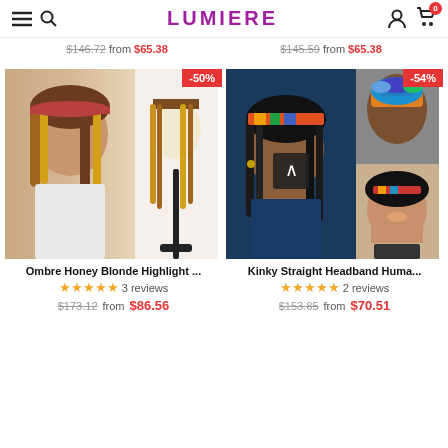LUMIERE — navigation header with hamburger menu, search, logo, user icon, cart (0)
$146.72 from $65.38   $145.59 from $65.38
[Figure (photo): Ombre Honey Blonde Highlight headband wig product photo showing woman wearing highlighted straight wig and wig on mannequin head, with -50% discount badge]
Ombre Honey Blonde Highlight ...
★★★★★ 3 reviews
$173.12 from $86.56
[Figure (photo): Kinky Straight Headband Human Hair wig product photo showing three images of women wearing kinky straight headband wigs with colorful scarves, with -54% discount badge]
Kinky Straight Headband Huma...
★★★★★ 2 reviews
$153.85 from $70.51